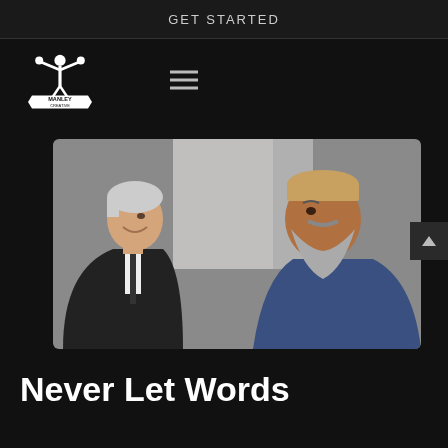GET STARTED
[Figure (logo): Manley Creative logo with muscular figure flexing above a banner ribbon reading MANLEY CREATIVE]
[Figure (photo): Two men facing each other and smiling/talking. One is an older white-haired man in a dark suit, the other is a man with a beard wearing a tan kufi cap and blue clothing.]
Never Let Words